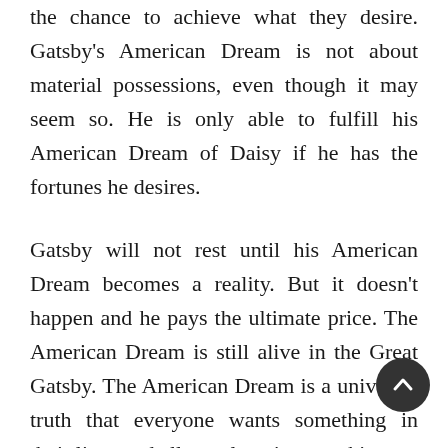the chance to achieve what they desire. Gatsby's American Dream is not about material possessions, even though it may seem so. He is only able to fulfill his American Dream of Daisy if he has the fortunes he desires.
Gatsby will not rest until his American Dream becomes a reality. But it doesn't happen and he pays the ultimate price. The American Dream is still alive in the Great Gatsby. The American Dream is a universal truth that everyone wants something in their lives and all people strive to achieve. Gatsby is an excellent example of